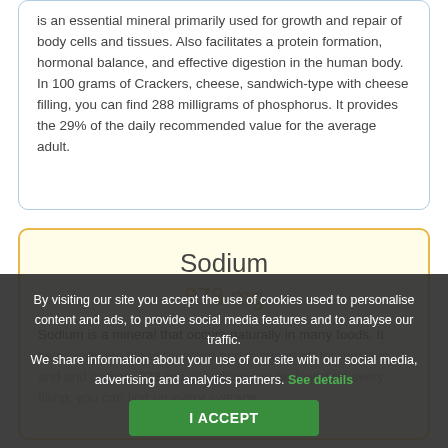is an essential mineral primarily used for growth and repair of body cells and tissues. Also facilitates a protein formation, hormonal balance, and effective digestion in the human body. In 100 grams of Crackers, cheese, sandwich-type with cheese filling, you can find 288 milligrams of phosphorus. It provides the 29% of the daily recommended value for the average adult.
Sodium
878 mg
Sodium is a mineral that occurs naturally in many foods. It helps regulate blood pressure and is important for muscles and nerves. 878 mg of sodium can be found on every filling, you can find on every average adult.
By visiting our site you accept the use of cookies used to personalise content and ads, to provide social media features and to analyse our traffic. We share information about your use of our site with our social media, advertising and analytics partners. See details
I ACCEPT